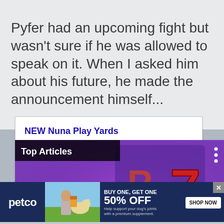Pyfer had an upcoming fight but wasn't sure if he was allowed to speak on it.  When I asked him about his future, he made the announcement himself...
[Figure (screenshot): Advertisement card for NEW Nuna Play Yards showing title in blue bold, subtitle 'sena aire + cove aire go', URL www.albeebaby.com in green, with a play yard product image below]
[Figure (screenshot): Top Articles video overlay showing a slot machine with a red 7, pause and mute controls, blue arrow button, and 'Know How To Make The Best' article preview bar at bottom]
[Figure (screenshot): Petco advertisement banner: dark blue background, petco logo, image of woman with dog, 'BUY ONE, GET ONE 50% OFF' text, 'SHOP NOW' button, help text about dog joint supplement]